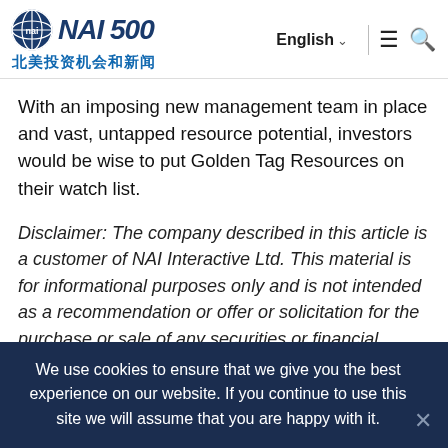NAI 500 北美投资机会和新闻 | English
With an imposing new management team in place and vast, untapped resource potential, investors would be wise to put Golden Tag Resources on their watch list.
Disclaimer: The company described in this article is a customer of NAI Interactive Ltd. This material is for informational purposes only and is not intended as a recommendation or offer or solicitation for the purchase or sale of any securities or financial instruments, or for transactions involving any financial instrument or trading...
We use cookies to ensure that we give you the best experience on our website. If you continue to use this site we will assume that you are happy with it.